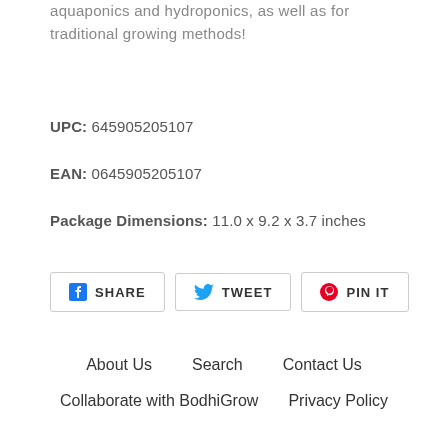aquaponics and hydroponics, as well as for traditional growing methods!
UPC: 645905205107
EAN: 0645905205107
Package Dimensions: 11.0 x 9.2 x 3.7 inches
[Figure (other): Social sharing buttons: SHARE (Facebook), TWEET (Twitter), PIN IT (Pinterest)]
About Us   Search   Contact Us
Collaborate with BodhiGrow   Privacy Policy